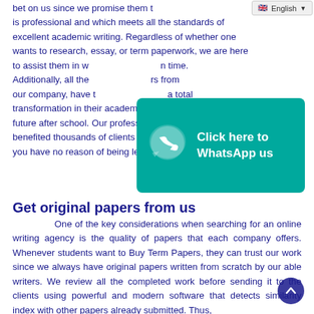bet on us since we promise them t is professional and which meets all the standards of excellent academic writing. Regardless of whether one wants to research, essay, or term paperwork, we are here to assist them in w n time. Additionally, all the rs from our company, have t a total transformation in their academics, and in turn have a bright future after school. Our professional papers have benefited thousands of clients in various institutions, and you have no reason of being left behind.
[Figure (other): Green WhatsApp call-to-action button with phone icon and text 'Click here to WhatsApp us']
Get original papers from us
One of the key considerations when searching for an online writing agency is the quality of papers that each company offers. Whenever students want to Buy Term Papers, they can trust our work since we always have original papers written from scratch by our able writers. We review all the completed work before sending it to the clients using powerful and modern software that detects similarity index with other papers already submitted. Thus,